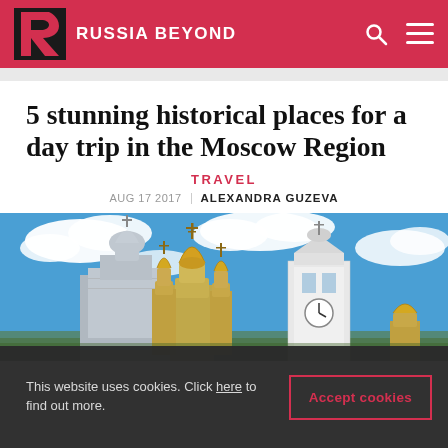RUSSIA BEYOND
5 stunning historical places for a day trip in the Moscow Region
TRAVEL
AUG 17 2017  ALEXANDRA GUZEVA
[Figure (photo): Russian Orthodox church with golden onion domes against a blue sky with white clouds]
This website uses cookies. Click here to find out more.
Accept cookies